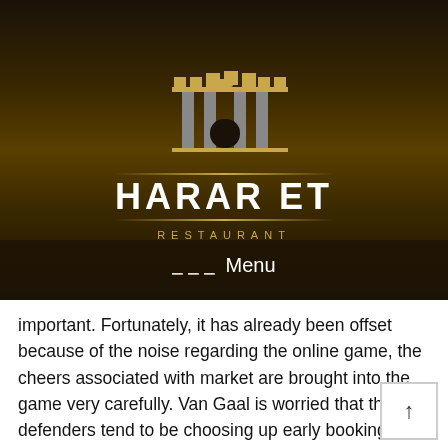[Figure (logo): Harar Et Restaurant logo with golden castle/gate illustration above the text]
≡ Menu
important. Fortunately, it has already been offset because of the noise regarding the online game, the cheers associated with market are brought into the game very carefully. Van Gaal is worried that their defenders tend to be choosing up early bookings against a team with Arsenal's speed and motion. Players will love the very genuine sound regarding the game. Recruit representatives that can help you scout for top level players. Agents may consider three categories of player: typical, excellent, and legendary players. The three time protecting State Class B Champion Chanhassen Red Birds face the Moorhead Mudcats in their opener in Chaska p.m. Godwin had several different accidents that likely played part in this drop, but falls were a major issue in 2020. He had guaranteed arms in the first three NFL seasons with four complete falls in that